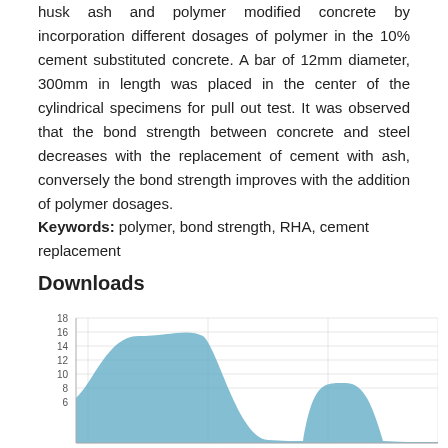husk ash and polymer modified concrete by incorporation different dosages of polymer in the 10% cement substituted concrete. A bar of 12mm diameter, 300mm in length was placed in the center of the cylindrical specimens for pull out test. It was observed that the bond strength between concrete and steel decreases with the replacement of cement with ash, conversely the bond strength improves with the addition of polymer dosages.
Keywords: polymer, bond strength, RHA, cement replacement
Downloads
[Figure (area-chart): Area chart showing download counts over time with a large peak around 16, a smaller peak around 6, and values near 1-2 at other points]